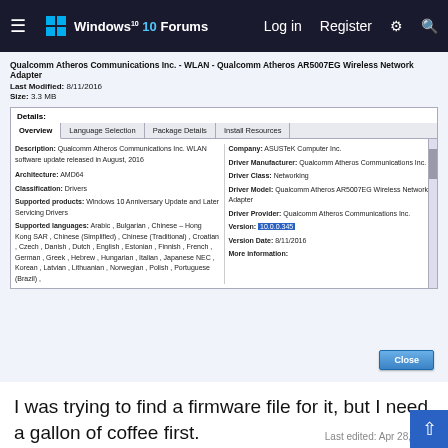Windows 10 Forums — Log in | Register
[Figure (screenshot): Screenshot of Windows Update catalog detail panel showing Qualcomm Atheros AR5007EG Wireless Network Adapter driver details. Overview tab is active. Left column shows Description, Architecture, Classification, Supported products, Supported languages. Right column shows Company, Driver Manufacturer, Driver Class, Driver Model, Driver Provider, Version (highlighted: 10.0.0.345), Version Date, More information.]
I was trying to find a firmware file for it, but I need a gallon of coffee first.
Last edited: Apr 28, 2017